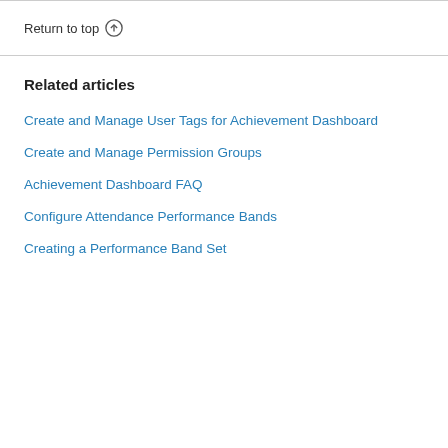Return to top ↑
Related articles
Create and Manage User Tags for Achievement Dashboard
Create and Manage Permission Groups
Achievement Dashboard FAQ
Configure Attendance Performance Bands
Creating a Performance Band Set